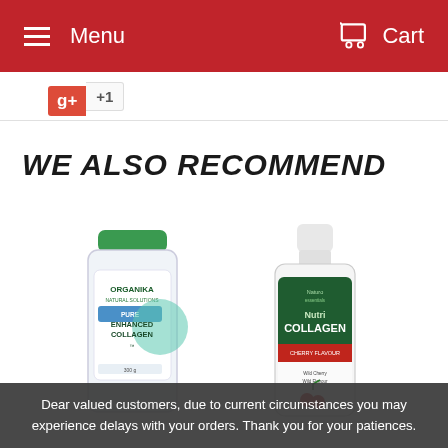Menu   Cart
[Figure (other): Google +1 social button showing '+1' count]
WE ALSO RECOMMEND
[Figure (photo): Organika Enhanced Collagen product container with green lid]
[Figure (photo): Naturo Sciences Nutri Collagen liquid bottle with red cherry flavour label]
Dear valued customers, due to current circumstances you may experience delays with your orders. Thank you for your patiences.